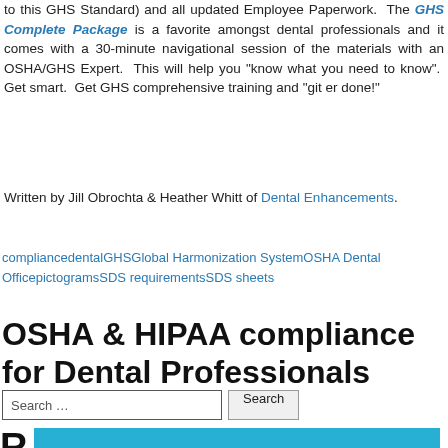to this GHS Standard) and all updated Employee Paperwork. The GHS Complete Package is a favorite amongst dental professionals and it comes with a 30-minute navigational session of the materials with an OSHA/GHS Expert. This will help you "know what you need to know". Get smart. Get GHS comprehensive training and "git er done!"
Written by Jill Obrochta & Heather Whitt of Dental Enhancements.
compliancedentalGHSGlobal Harmonization SystemOSHA Dental OfficepictogramsSDS requirementsSDS sheets
OSHA & HIPAA compliance for Dental Professionals
Search …
Contact
OSHA, HIPAA, COVID – HOW PREPARED IS YOUR DENTAL